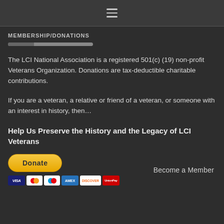MEMBERSHIP/DONATIONS
The LCI National Association is a registered 501(c) (19) non-profit Veterans Organization. Donations are tax-deductible charitable contributions.
If you are a veteran, a relative or friend of a veteran, or someone with an interest in history, then…
Help Us Preserve the History and the Legacy of LCI Veterans
[Figure (other): PayPal Donate button with credit card icons (Visa, Mastercard, Maestro, Amex, Discover, UnionPay)]
Become a Member